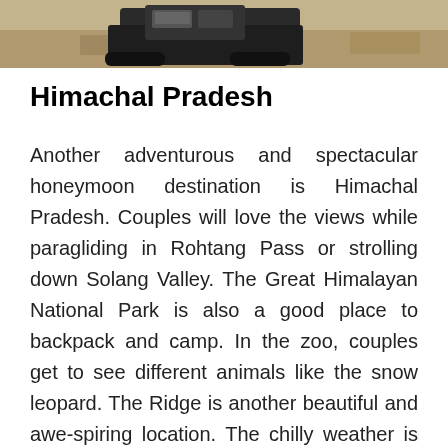[Figure (photo): Partial photo at the top of the page showing what appears to be a vehicle or machinery on dry ground/terrain.]
Himachal Pradesh
Another adventurous and spectacular honeymoon destination is Himachal Pradesh. Couples will love the views while paragliding in Rohtang Pass or strolling down Solang Valley. The Great Himalayan National Park is also a good place to backpack and camp. In the zoo, couples get to see different animals like the snow leopard. The Ridge is another beautiful and awe-spiring location. The chilly weather is perfect for a bonfire, where you can toast marshmallows and have meaningful